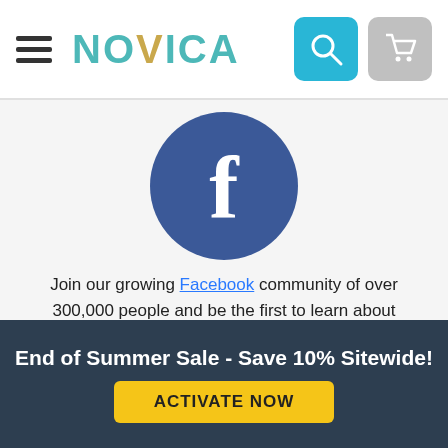NOVICA
[Figure (logo): Facebook logo - blue circle with white lowercase f]
Join our growing Facebook community of over 300,000 people and be the first to learn about giveaways, new styles, and the best hidden talent in the handmade art world.
[Figure (illustration): Row of social media icons: Facebook (blue), YouTube (red), Pinterest (dark red), Instagram (gold/yellow)]
End of Summer Sale - Save 10% Sitewide!
ACTIVATE NOW